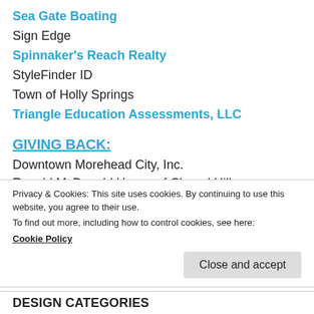Sea Gate Boating
Sign Edge
Spinnaker's Reach Realty
StyleFinder ID
Town of Holly Springs
Triangle Education Assessments, LLC
GIVING BACK:
Downtown Morehead City, Inc.
Ronald McDonald House of Chapel Hill
Carolina Shock Association (Girls fastpitch softball)
Carolina Wild (Girls fastpitch softball)
Holly Ridge Middle School (Run for the Ridge 5K
Privacy & Cookies: This site uses cookies. By continuing to use this website, you agree to their use.
To find out more, including how to control cookies, see here:
Cookie Policy
Close and accept
DESIGN CATEGORIES